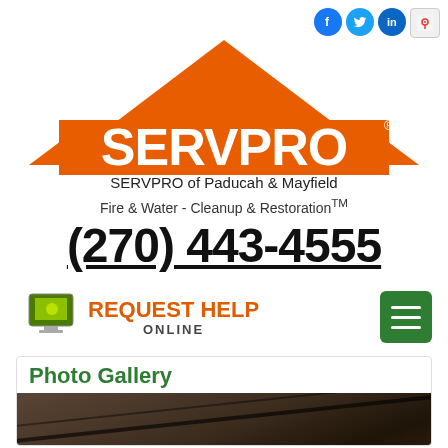[Figure (logo): SERVPRO orange roof logo with SERVPRO text in white]
SERVPRO of Paducah & Mayfield
Fire & Water - Cleanup & Restoration™
(270) 443-4555
[Figure (infographic): REQUEST HELP ONLINE button with green monitor icon]
[Figure (other): Green hamburger menu button]
Photo Gallery
[Figure (photo): Dark close-up photo showing what appears to be a damaged roof or structural element]
[Figure (other): Social media icons: Facebook, Twitter, LinkedIn, Google Maps]